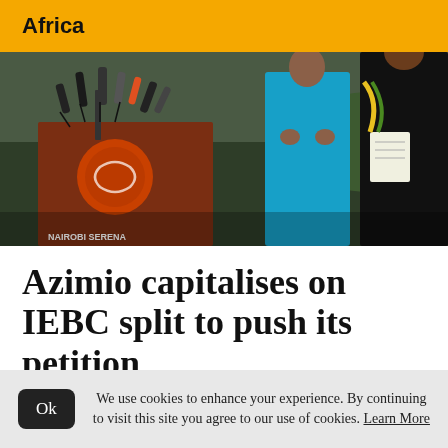Africa
[Figure (photo): Press conference at a podium with microphones. A person in a teal/blue outfit stands at the podium. Another person in black stands to the right holding a notepad. Multiple microphones are mounted on the podium. The podium has a circular logo and text reading 'NAIROBI SERENA'.]
Azimio capitalises on IEBC split to push its petition
Karua faults Ruto for attacking Raila instead of responding to the issues they raised
We use cookies to enhance your experience. By continuing to visit this site you agree to our use of cookies. Learn More